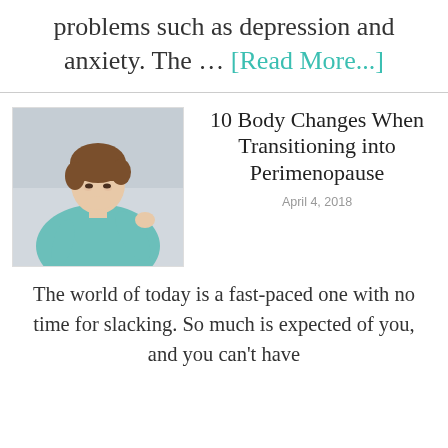problems such as depression and anxiety. The … [Read More...]
[Figure (photo): Woman in teal/blue top looking down at her chest area, short brown hair, light grey background]
10 Body Changes When Transitioning into Perimenopause
April 4, 2018
The world of today is a fast-paced one with no time for slacking. So much is expected of you, and you can't have